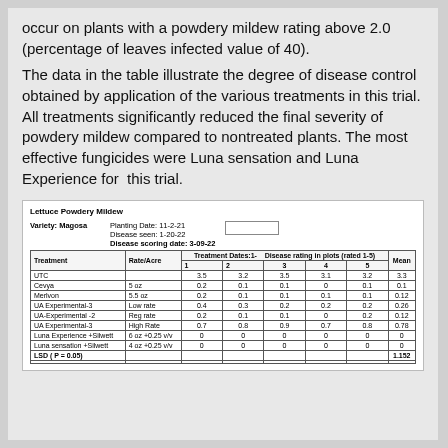occur on plants with a powdery mildew rating above 2.0 (percentage of leaves infected value of 40).
The data in the table illustrate the degree of disease control obtained by application of the various treatments in this trial. All treatments significantly reduced the final severity of powdery mildew compared to nontreated plants. The most effective fungicides were Luna sensation and Luna Experience for this trial.
Lettuce Powdery Mildew
| Treatment | Rate/Acre | 1 | 2 | 3 | 4 | 5 | Mean |
| --- | --- | --- | --- | --- | --- | --- | --- |
| UTC |  | 3.5 | 3.2 | 3.5 | 3.1 | 3.2 | 3.3 |
| Cevya | 5 oz | 0.2 | 0.1 | 0.1 | 0 | 0.1 | 0.1 |
| Merlvon | 5.5 oz | 0.2 | 0.1 | 0.1 | 0.1 | 0.1 | 0.12 |
| UA Experimental-3 | Low rate | 0.4 | 0.3 | 0.2 | 0.2 | 0.2 | 0.26 |
| UA-Experimental -2 | Reg rate | 0.2 | 0.1 | 0.1 | 0 | 0.2 | 0.12 |
| UA Experimental-3 | High Rate | 0.7 | 0.8 | 0.9 | 0.7 | 0.8 | 0.78 |
| Luna Experience +Silwett | 6 oz +0.25 v/v | 0 | 0 | 0 | 0 | 0 | 0 |
| Luna sensation +Silwett | 4 oz +0.25 v/v | 0 | 0 | 0 | 0 | 0 | 0 |
| LSD ( P = 0.05) |  |  |  |  |  |  | 1.152 |